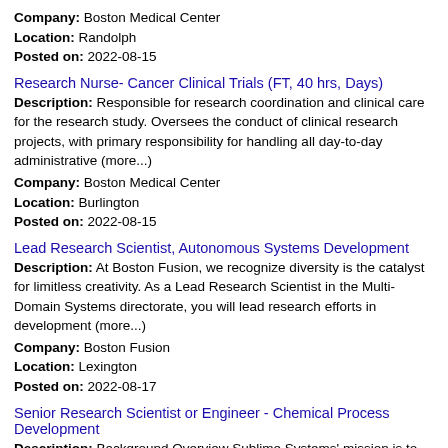Company: Boston Medical Center
Location: Randolph
Posted on: 2022-08-15
Research Nurse- Cancer Clinical Trials (FT, 40 hrs, Days)
Description: Responsible for research coordination and clinical care for the research study. Oversees the conduct of clinical research projects, with primary responsibility for handling all day-to-day administrative (more...)
Company: Boston Medical Center
Location: Burlington
Posted on: 2022-08-15
Lead Research Scientist, Autonomous Systems Development
Description: At Boston Fusion, we recognize diversity is the catalyst for limitless creativity. As a Lead Research Scientist in the Multi-Domain Systems directorate, you will lead research efforts in development (more...)
Company: Boston Fusion
Location: Lexington
Posted on: 2022-08-17
Senior Research Scientist or Engineer - Chemical Process Development
Description: Background Overview Sublime Systems' mission is to have a swift and massive impact on reducing global CO2